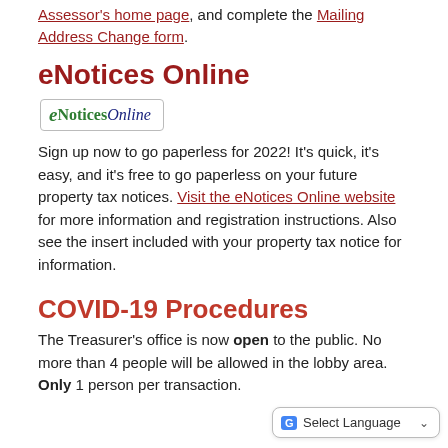Assessor's home page, and complete the Mailing Address Change form.
eNotices Online
[Figure (logo): eNoticesOnline logo — stylized italic 'e' followed by bold 'Notices' in green and 'Online' in dark blue italic, inside a rounded rectangle border]
Sign up now to go paperless for 2022! It's quick, it's easy, and it's free to go paperless on your future property tax notices. Visit the eNotices Online website for more information and registration instructions. Also see the insert included with your property tax notice for information.
COVID-19 Procedures
The Treasurer's office is now open to the public. No more than 4 people will be allowed in the lobby area. Only 1 person per transaction.